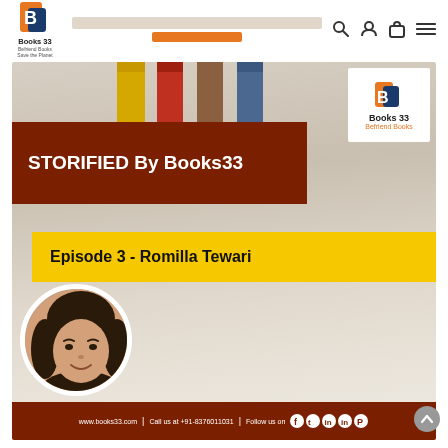[Figure (logo): Books33 logo - orange B icon with text 'Books 33 Befriend Books Save the Planet']
Navigation banner with search, account, cart, and menu icons
[Figure (photo): STORIFIED By Books33 promotional image. Background with colored pencils (yellow, red, blue). Dark red banner with white text 'STORIFIED By Books33'. Yellow banner with bold text 'Episode 3 - Romilla Tewari'. Circular photo of a woman (Romilla Tewari) with dark hair smiling. Books33 logo in top right corner of image. Bottom footer bar: www.books33.com | Call us at +91-8376011031 | Follow us on [social icons]]